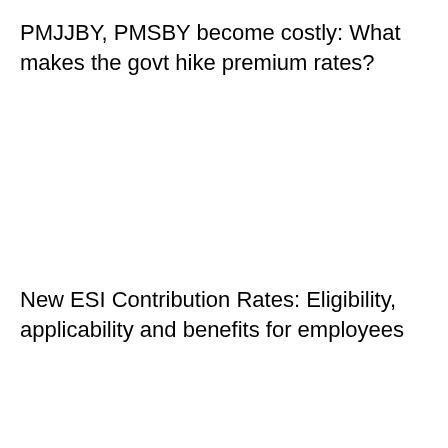PMJJBY, PMSBY become costly: What makes the govt hike premium rates?
New ESI Contribution Rates: Eligibility, applicability and benefits for employees